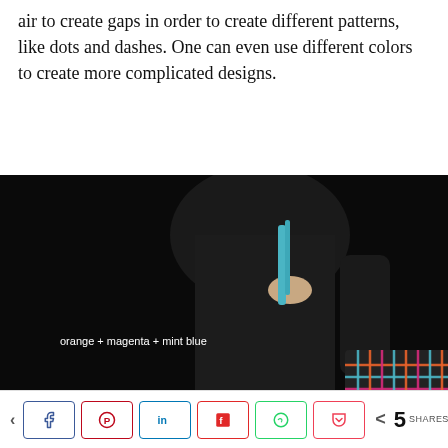air to create gaps in order to create different patterns, like dots and dashes. One can even use different colors to create more complicated designs.
[Figure (photo): Person in black outfit holding a colorful woven/knitted tote bag made with orange, magenta, and mint blue strands against a dark background. Text overlay reads: 'orange + magenta + mint blue']
Share buttons: Facebook, Pinterest, LinkedIn, Flipboard, WhatsApp, Pocket. 5 SHARES